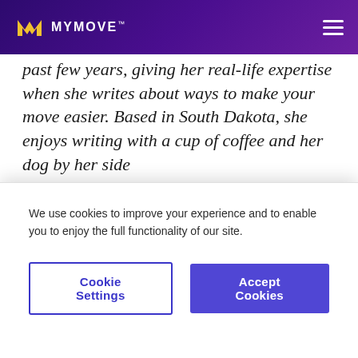MYMOVE
past few years, giving her real-life expertise when she writes about ways to make your move easier. Based in South Dakota, she enjoys writing with a cup of coffee and her dog by her side
Related Articles
We use cookies to improve your experience and to enable you to enjoy the full functionality of our site.